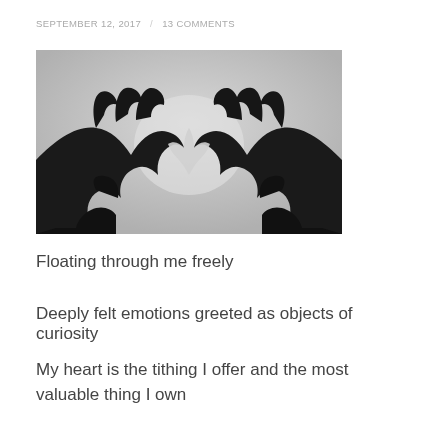SEPTEMBER 12, 2017 / 13 COMMENTS
[Figure (photo): Black and white photograph of two hands forming a heart shape with fingers against a light grey background.]
Floating through me freely
Deeply felt emotions greeted as objects of curiosity
My heart is the tithing I offer and the most valuable thing I own